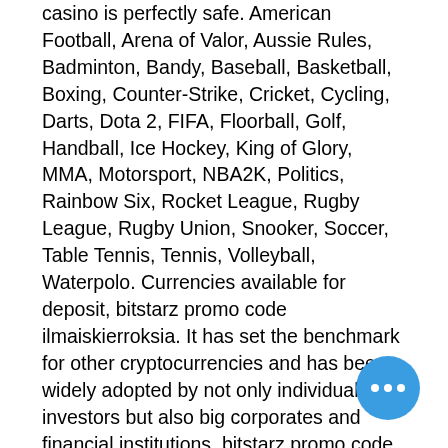casino is perfectly safe. American Football, Arena of Valor, Aussie Rules, Badminton, Bandy, Baseball, Basketball, Boxing, Counter-Strike, Cricket, Cycling, Darts, Dota 2, FIFA, Floorball, Golf, Handball, Ice Hockey, King of Glory, MMA, Motorsport, NBA2K, Politics, Rainbow Six, Rocket League, Rugby League, Rugby Union, Snooker, Soccer, Table Tennis, Tennis, Volleyball, Waterpolo. Currencies available for deposit, bitstarz promo code ilmaiskierroksia. It has set the benchmark for other cryptocurrencies and has been widely adopted by not only individual investors but also big corporates and financial institutions, bitstarz promo code ücretsiz döndürme. This is touted as being the currency of the internet. It has calculated that this gives it an edge of around 0. Online gambling has taken off in the last few years, with the market worth almost 5bn a year in the UK